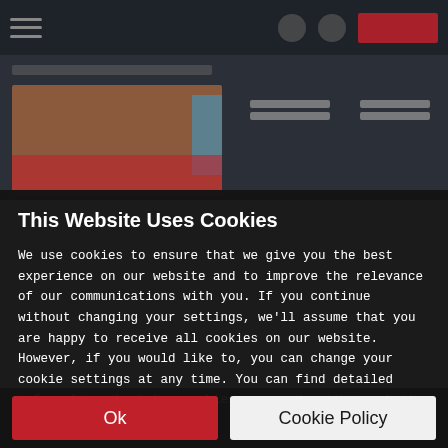[Figure (screenshot): Blurred website navigation bar and product page content in the background, showing a dark header with hamburger menu icon, circular icons, and a red button on the right. Below shows a blurred product image thumbnail with brownish/reddish colors and two blurred text blocks on the right side.]
This Website Uses Cookies
We use cookies to ensure that we give you the best experience on our website and to improve the relevance of our communications with you. If you continue without changing your settings, we'll assume that you are happy to receive all cookies on our website. However, if you would like to, you can change your cookie settings at any time. You can find detailed information about how cookies are used on this website by clicking Cookie Policy.
Ok
Cookie Policy